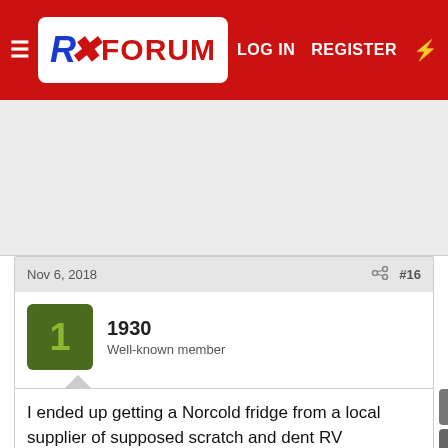RX FORUM — LOG IN  REGISTER
[Figure (other): Advertisement area (blank white/grey space)]
Nov 6, 2018    #16
1930
Well-known member
I ended up getting a Norcold fridge from a local supplier of supposed scratch and dent RV appliances and Rv/truck related stuff.
Its brand new https://postimg.cc/WtzYC1Np